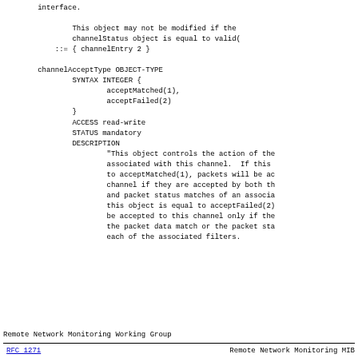interface.

            This object may not be modified if the
            channelStatus object is equal to valid
        ::= { channelEntry 2 }
channelAcceptType OBJECT-TYPE
        SYNTAX INTEGER {
                acceptMatched(1),
                acceptFailed(2)
        }
        ACCESS read-write
        STATUS mandatory
        DESCRIPTION
                "This object controls the action of the
                associated with this channel.  If this
                to acceptMatched(1), packets will be ac
                channel if they are accepted by both th
                and packet status matches of an associa
                this object is equal to acceptFailed(2)
                be accepted to this channel only if the
                the packet data match or the packet sta
                each of the associated filters.
Remote Network Monitoring Working Group
RFC 1271                Remote Network Monitoring MIB